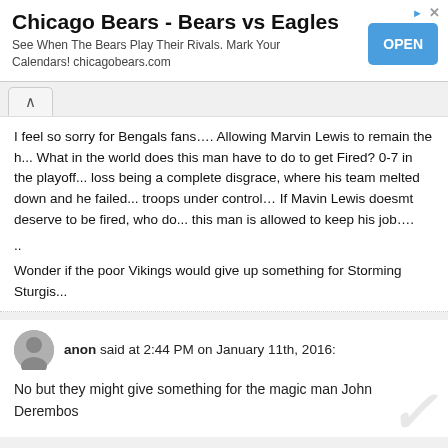[Figure (other): Chicago Bears advertisement banner with OPEN button]
I feel so sorry for Bengals fans…. Allowing Marvin Lewis to remain the h... What in the world does this man have to do to get Fired? 0-7 in the playoff... loss being a complete disgrace, where his team melted down and he failed... troops under control… If Mavin Lewis doesmt deserve to be fired, who do... this man is allowed to keep his job….
..
Wonder if the poor Vikings would give up something for Storming Sturgis...
anon said at 2:44 PM on January 11th, 2016:
No but they might give something for the magic man John Derembos